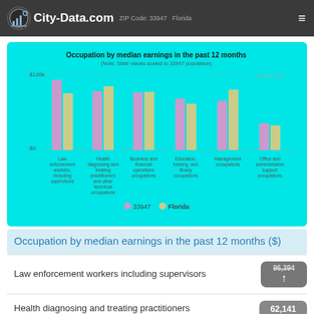City-Data.com
[Figure (grouped-bar-chart): Occupation by median earnings in the past 12 months]
Occupation by median earnings in the past 12 months ($)
Law enforcement workers including supervisors
Health diagnosing and treating practitioners
62,141